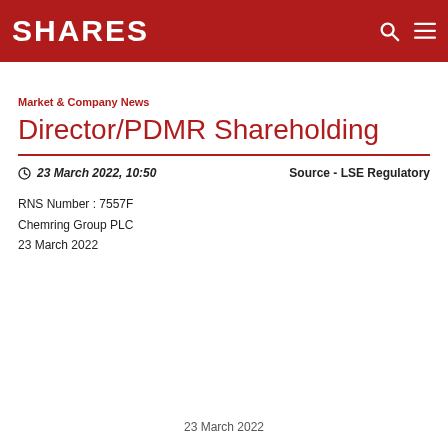SHARES
Market & Company News
Director/PDMR Shareholding
23 March 2022, 10:50    Source - LSE Regulatory
RNS Number : 7557F
Chemring Group PLC
23 March 2022
23 March 2022